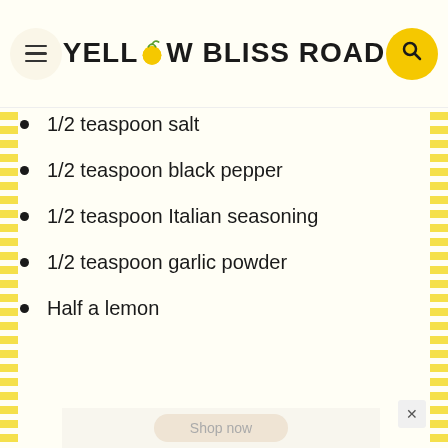Yellow Bliss Road
1/2 teaspoon salt
1/2 teaspoon black pepper
1/2 teaspoon Italian seasoning
1/2 teaspoon garlic powder
Half a lemon
[Figure (screenshot): SimpliSafe advertisement: dark navy background with SimpliSafe logo (Simpli in white, Safe in orange), a security camera on the right, text reading 'The Best Home Security of 2022' – U.S. News & World Report, and a Shop now button below.]